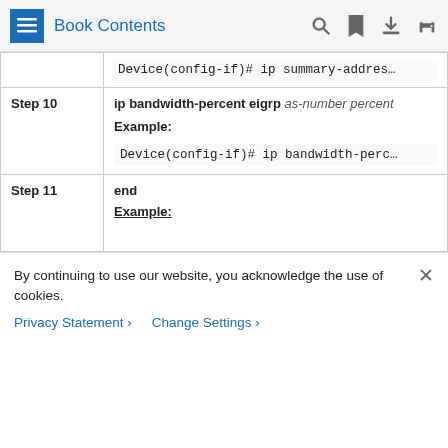Book Contents
| Step | Command/Description |
| --- | --- |
|  | Device(config-if)# ip summary-addres… |
| Step 10 | ip bandwidth-percent eigrp as-number percent
Example:
Device(config-if)# ip bandwidth-perc… |
| Step 11 | end
Example: |
By continuing to use our website, you acknowledge the use of cookies.
Privacy Statement › Change Settings ›